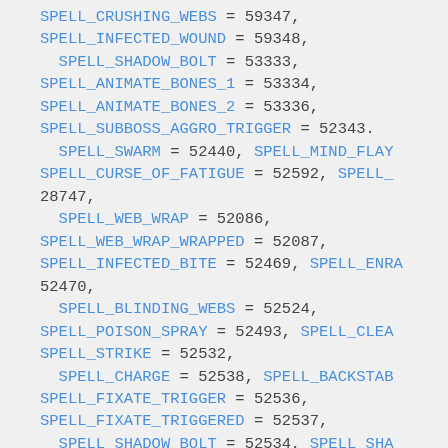SPELL_CRUSHING_WEBS = 59347, SPELL_INFECTED_WOUND = 59348, SPELL_SHADOW_BOLT = 53333, SPELL_ANIMATE_BONES_1 = 53334, SPELL_ANIMATE_BONES_2 = 53336, SPELL_SUBBOSS_AGGRO_TRIGGER = 52343, SPELL_SWARM = 52440, SPELL_MIND_FLAY, SPELL_CURSE_OF_FATIGUE = 52592, SPELL_ 28747, SPELL_WEB_WRAP = 52086, SPELL_WEB_WRAP_WRAPPED = 52087, SPELL_INFECTED_BITE = 52469, SPELL_ENRA 52470, SPELL_BLINDING_WEBS = 52524, SPELL_POISON_SPRAY = 52493, SPELL_CLEA SPELL_STRIKE = 52532, SPELL_CHARGE = 52538, SPELL_BACKSTAB SPELL_FIXATE_TRIGGER = 52536, SPELL_FIXATE_TRIGGERED = 52537, SPELL_SHADOW_BOLT = 52534, SPELL_SHA